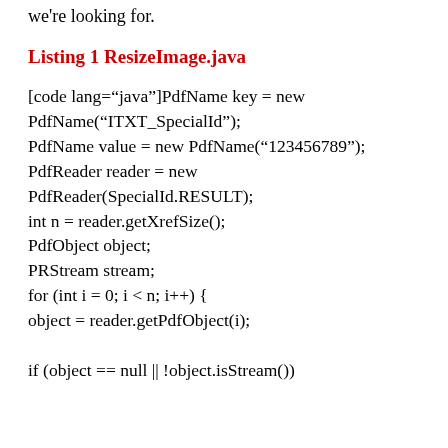we're looking for.
Listing 1 ResizeImage.java
[code lang="java"]PdfName key = new PdfName("ITXT_SpecialId");
PdfName value = new PdfName("123456789");
PdfReader reader = new PdfReader(SpecialId.RESULT);
int n = reader.getXrefSize();
PdfObject object;
PRStream stream;
for (int i = 0; i < n; i++) {
object = reader.getPdfObject(i);

if (object == null || !object.isStream())